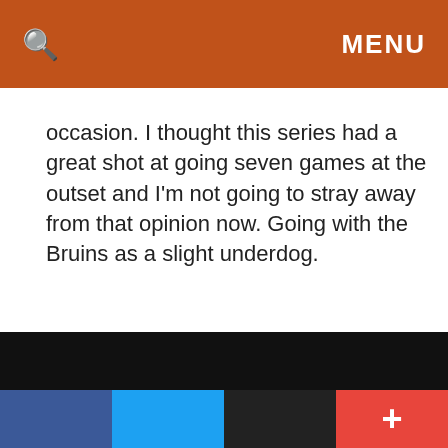🔍  MENU
occasion. I thought this series had a great shot at going seven games at the outset and I'm not going to stray away from that opinion now. Going with the Bruins as a slight underdog.
FREE DAILY LOCK PICK: NFL: NEW ENGLAND VS. LAS VEGAS - AUGUST 26TH (100% CONFIDENCE RELEASE)
NHL DAILY PREDICTION: BOSTON BRUINS +100
[Figure (screenshot): Advertisement: Shop Online, Pickup Today - World Market, with blue diamond arrow icon]
Shop Online, Pickup Today
World Market